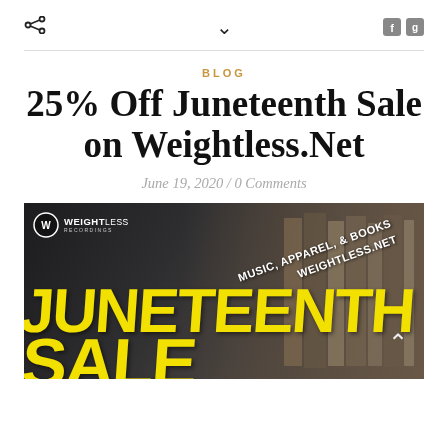< ˅
BLOG
25% Off Juneteenth Sale on Weightless.Net
June 19, 2020 / 0 Comments
[Figure (photo): Promotional banner image for Juneteenth Sale at Weightless.Net. Dark background with bold yellow text reading JUNETEENTH SALE. White text at upper right reads MUSIC, APPAREL, & BOOKS / WEIGHTLESS.NET. Weightless Recordings logo top-left. Upward chevron at right side.]